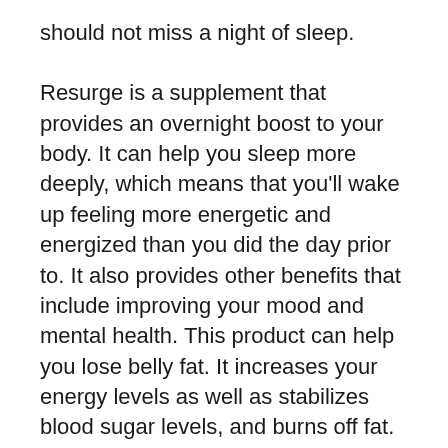should not miss a night of sleep.
Resurge is a supplement that provides an overnight boost to your body. It can help you sleep more deeply, which means that you'll wake up feeling more energetic and energized than you did the day prior to. It also provides other benefits that include improving your mood and mental health. This product can help you lose belly fat. It increases your energy levels as well as stabilizes blood sugar levels, and burns off fat. Resurge is completely safe and has no side effects.
Resurge is an all-natural sleep aid that contains 8 ingredients. It helps you to sleep longer and improves your immune system. It